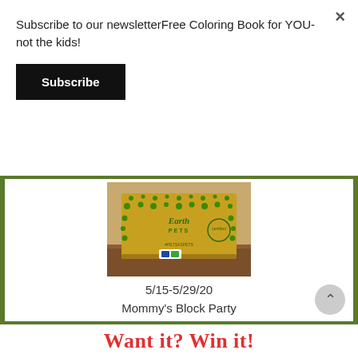Subscribe to our newsletterFree Coloring Book for YOU- not the kids!
Subscribe
[Figure (photo): A cardboard pet subscription box (Earth Pets) with green paw print decorations on a wooden surface, with a small sticker on the front. Below the photo: 5/15-5/29/20 Mommy's Block Party]
Want it? Win it!